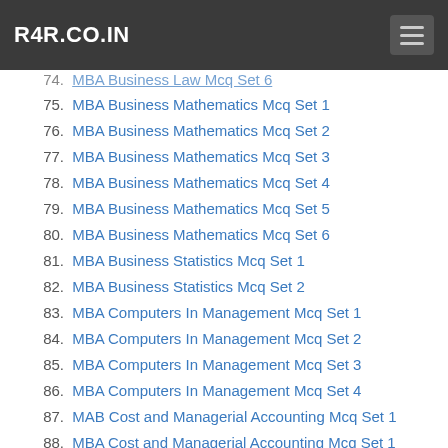R4R.CO.IN
74. MBA Business Law Mcq Set 6
75. MBA Business Mathematics Mcq Set 1
76. MBA Business Mathematics Mcq Set 2
77. MBA Business Mathematics Mcq Set 3
78. MBA Business Mathematics Mcq Set 4
79. MBA Business Mathematics Mcq Set 5
80. MBA Business Mathematics Mcq Set 6
81. MBA Business Statistics Mcq Set 1
82. MBA Business Statistics Mcq Set 2
83. MBA Computers In Management Mcq Set 1
84. MBA Computers In Management Mcq Set 2
85. MBA Computers In Management Mcq Set 3
86. MBA Computers In Management Mcq Set 4
87. MAB Cost and Managerial Accounting Mcq Set 1
88. MBA Cost and Managerial Accounting Mcq Set 1
89. MBA Cost and Managerial Accounting Mcq Set 2
90. MBA Cost and Managerial Accounting Mcq Set 3